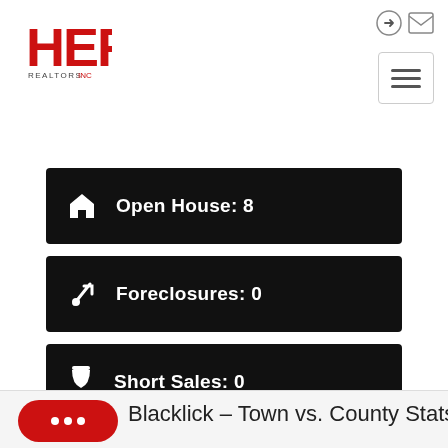[Figure (logo): HER Realtors logo in red and black]
Open House: 8
Foreclosures: 0
Short Sales: 0
Blacklick - Town vs. County Stats